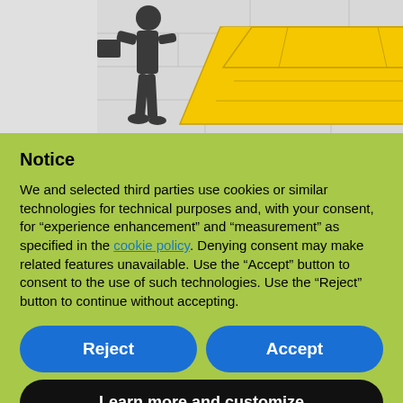[Figure (illustration): A silhouette of a person standing next to a large yellow skip/dumpster container against a light gray background.]
Notice
We and selected third parties use cookies or similar technologies for technical purposes and, with your consent, for “experience enhancement” and “measurement” as specified in the cookie policy. Denying consent may make related features unavailable. Use the “Accept” button to consent to the use of such technologies. Use the “Reject” button to continue without accepting.
Reject
Accept
Learn more and customize